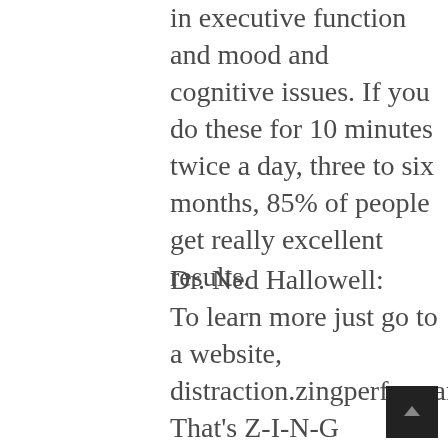in executive function and mood and cognitive issues. If you do these for 10 minutes twice a day, three to six months, 85% of people get really excellent results.
Dr. Ned Hallowell:
To learn more just go to a website, distraction.zingperformance. That's Z-I-N-G performance.com. That's distraction.zingperformance.com. You don't use medication at all. You may take medication while you're doing Zing, it's not contra-indicated, but this is a completely non-medication treatment for ADHD. It's based on breakthrough science from Jeremy Schmahmann